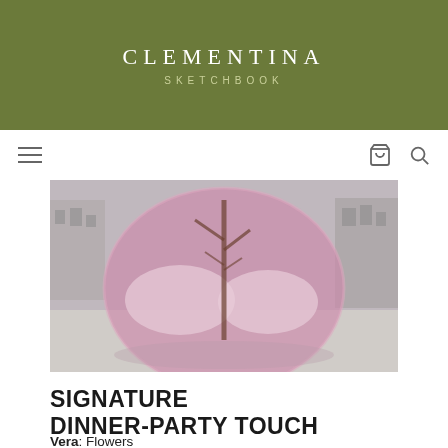CLEMENTINA SKETCHBOOK
[Figure (photo): Large pink glass sculpture shaped like a heart or round vessel, reflecting a tree inside, situated on a white stone surface with Venetian buildings and a canal in the background.]
SIGNATURE DINNER-PARTY TOUCH
Vera: Flowers